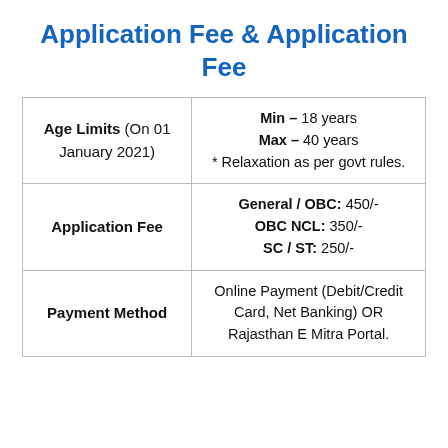Application Fee & Application Fee
|  |  |
| --- | --- |
| Age Limits (On 01 January 2021) | Min – 18 years
Max – 40 years
* Relaxation as per govt rules. |
| Application Fee | General / OBC: 450/-
OBC NCL: 350/-
SC / ST: 250/- |
| Payment Method | Online Payment (Debit/Credit Card, Net Banking) OR Rajasthan E Mitra Portal. |